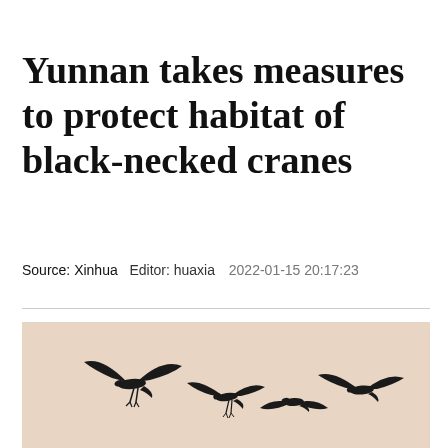Yunnan takes measures to protect habitat of black-necked cranes
Source: Xinhua   Editor: huaxia   2022-01-15 20:17:23
[Figure (photo): Silhouettes of four black-necked cranes flying against a warm beige/pink sky background]